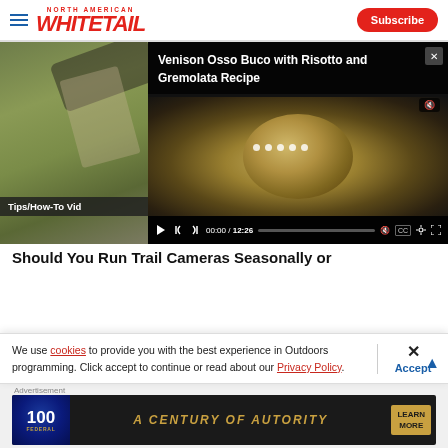North American Whitetail — Subscribe
[Figure (screenshot): Video player showing 'Venison Osso Buco with Risotto and Gremolata Recipe' overlaid on an outdoor hunting scene. Video controls show 00:00 / 12:26. Background shows person holding a mobile phone outdoors.]
Tips/How-To Vid
Should You Run Trail Cameras Seasonally or
We use cookies to provide you with the best experience in Outdoors programming. Click accept to continue or read about our Privacy Policy.
Advertisement
[Figure (infographic): Federal ammunition advertisement banner. Shows '100' badge with 'Federal' branding, 'A CENTURY OF AUTORITY' tagline in gold text, 'LEARN MORE' button on dark background.]